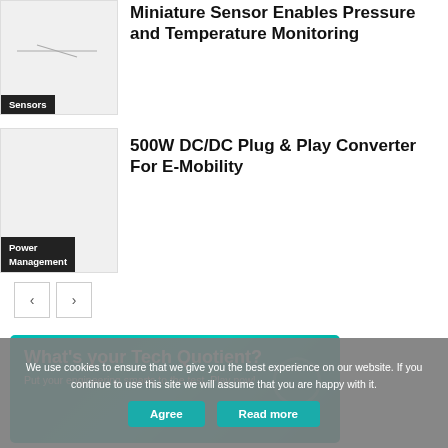[Figure (photo): Small product image of a miniature sensor with a horizontal line/component visible on white background]
Sensors
Miniature Sensor Enables Pressure and Temperature Monitoring
[Figure (photo): Product image area for DC/DC converter, blank/light gray]
Power Management
500W DC/DC Plug & Play Converter For E-Mobility
[Figure (infographic): Teal/green banner advertisement reading: What's your Tech Quotient? Put your engineering smarts to the test. Play now! with a phone graphic and decorative elements]
We use cookies to ensure that we give you the best experience on our website. If you continue to use this site we will assume that you are happy with it.
Agree
Read more